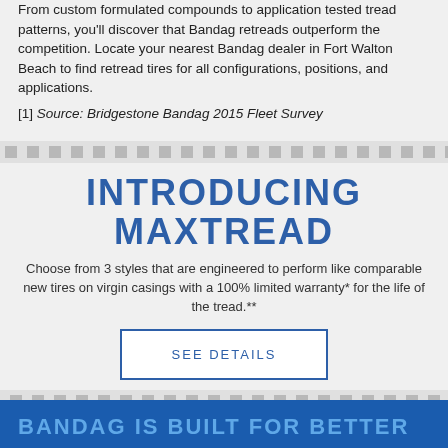From custom formulated compounds to application tested tread patterns, you'll discover that Bandag retreads outperform the competition. Locate your nearest Bandag dealer in Fort Walton Beach to find retread tires for all configurations, positions, and applications.
[1] Source: Bridgestone Bandag 2015 Fleet Survey
INTRODUCING MAXTREAD
Choose from 3 styles that are engineered to perform like comparable new tires on virgin casings with a 100% limited warranty* for the life of the tread.**
SEE DETAILS
BANDAG IS BUILT FOR BETTER